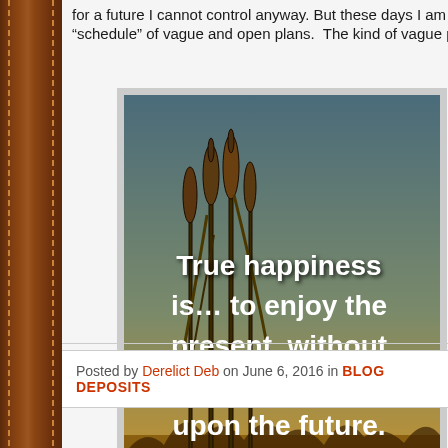for a future I cannot control anyway. But these days I am living a “schedule” of vague and open plans.  The kind of vague plans
[Figure (illustration): Motivational quote image with a golden field and cattails background at sunset. White bold text reads: 'True happiness is… to enjoy the present, without anxious dependence upon the future.']
Posted by Derelict Deb on June 6, 2016 in BLOG DEPOSITS